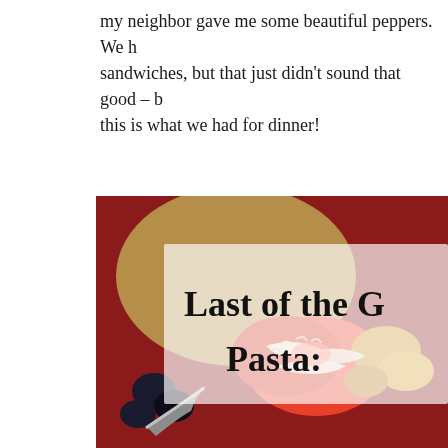my neighbor gave me some beautiful peppers. We had sandwiches, but that just didn't sound that good – but this is what we had for dinner!
[Figure (photo): Close-up food photo showing pasta dish with roasted peppers, tomatoes, and cheese, with a semi-transparent white overlay box containing the title text 'Last of the G... Pasta...' in bold serif font. Background shows a dark red/maroon color with some greenery and black olives visible.]